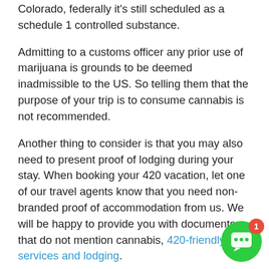Colorado, federally it's still scheduled as a schedule 1 controlled substance.
Admitting to a customs officer any prior use of marijuana is grounds to be deemed inadmissible to the US. So telling them that the purpose of your trip is to consume cannabis is not recommended.
Another thing to consider is that you may also need to present proof of lodging during your stay. When booking your 420 vacation, let one of our travel agents know that you need non-branded proof of accommodation from us. We will be happy to provide you with documents that do not mention cannabis, 420-friendly services and lodging.
It is legal for a customs agent to search your phone and computer without a warrant. Delete your pictures and lock your phone with a passcode. Also make sure